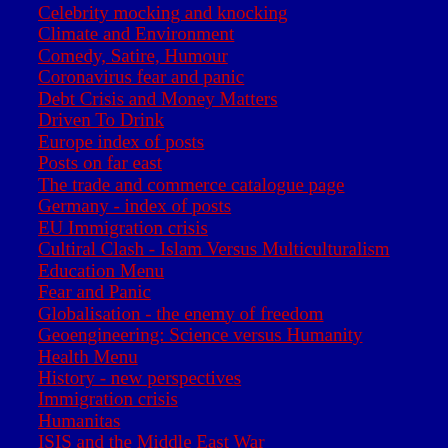Celebrity mocking and knocking
Climate and Environment
Comedy, Satire, Humour
Coronavirus fear and panic
Debt Crisis and Money Matters
Driven To Drink
Europe index of posts
Posts on far east
The trade and commerce catalogue page
Germany - index of posts
EU Immigration crisis
Cultiral Clash - Islam Versus Multiculturalism
Education Menu
Fear and Panic
Globalisation - the enemy of freedom
Geoengineering: Science versus Humanity
Health Menu
History - new perspectives
Immigration crisis
Humanitas
ISIS and the Middle East War
Jobs Crisis